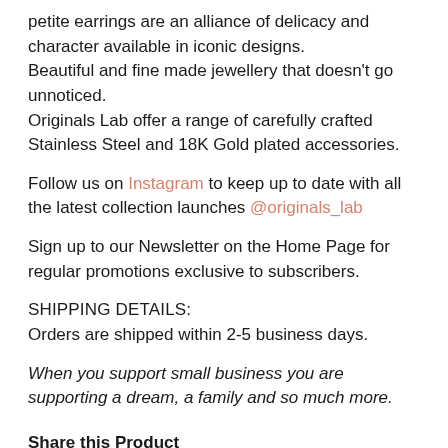petite earrings are an alliance of delicacy and character available in iconic designs.
Beautiful and fine made jewellery that doesn't go unnoticed.
Originals Lab offer a range of carefully crafted Stainless Steel and 18K Gold plated accessories.
Follow us on Instagram to keep up to date with all the latest collection launches @originals_lab
Sign up to our Newsletter on the Home Page for regular promotions exclusive to subscribers.
SHIPPING DETAILS:
Orders are shipped within 2-5 business days.
When you support small business you are supporting a dream, a family and so much more.
Share this Product